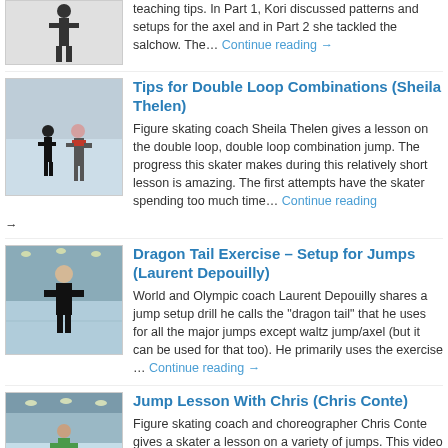teaching tips.  In Part 1, Kori discussed patterns and setups for the axel and in Part 2 she tackled the salchow. The… Continue reading →
[Figure (photo): Partial photo of a figure skater in black outfit at top of page]
Tips for Double Loop Combinations (Sheila Thelen)
Figure skating coach Sheila Thelen gives a lesson on the double loop, double loop combination jump. The progress this skater makes during this relatively short lesson is amazing. The first attempts have the skater spending too much time… Continue reading →
[Figure (photo): Photo of a skating coach and student on ice rink]
Dragon Tail Exercise – Setup for Jumps (Laurent Depouilly)
World and Olympic coach Laurent Depouilly shares a jump setup drill he calls the "dragon tail" that he uses for all the major jumps except waltz jump/axel (but it can be used for that too). He primarily uses the exercise … Continue reading →
[Figure (photo): Photo of Laurent Depouilly coach standing on ice rink]
Jump Lesson With Chris (Chris Conte)
Figure skating coach and choreographer Chris Conte gives a skater a lesson on a variety of jumps. This video is a continuation of the lesson in which Chris talked about tying skates properly. In the
[Figure (photo): Photo of ice rink with skater in green outfit]